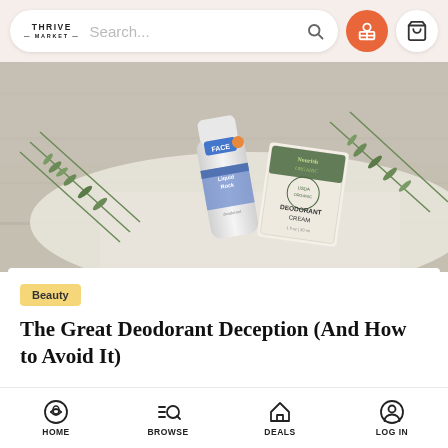Thrive Market — Search... (navigation bar with search, gift icon, cart icon)
[Figure (photo): Hero product photo showing two natural deodorant products (Lavanila Liquid Rock and Nourish Organic Deodorant Cream) on a white cloth surface with rosemary sprigs on a wooden table]
Beauty
The Great Deodorant Deception (And How to Avoid It)
There's a reason drugstore shelves are piled high with deodorants. We're all scared of smelling bad, and marketers know exactly how to push our
HOME  BROWSE  DEALS  LOG IN